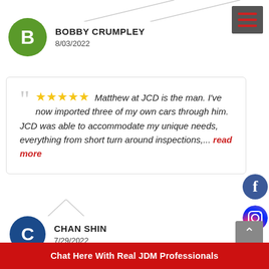[Figure (other): Navigation menu icon (hamburger) with red lines on dark gray background, top right corner]
BOBBY CRUMPLEY
8/03/2022
★★★★★ Matthew at JCD is the man. I've now imported three of my own cars through him. JCD was able to accommodate my unique needs, everything from short turn around inspections,... read more
CHAN SHIN
7/29/2022
[Figure (logo): Facebook circle icon (blue)]
[Figure (logo): Instagram circle icon (gradient)]
Chat Here With Real JDM Professionals